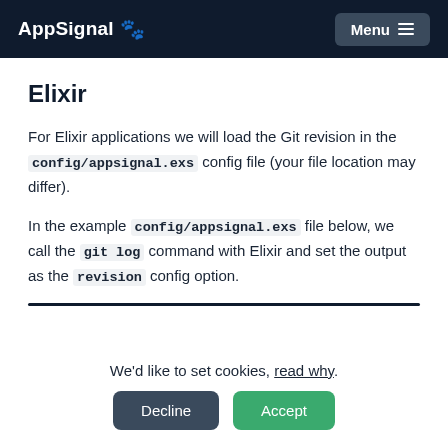AppSignal 🐾 Menu ≡
Elixir
For Elixir applications we will load the Git revision in the config/appsignal.exs config file (your file location may differ).
In the example config/appsignal.exs file below, we call the git log command with Elixir and set the output as the revision config option.
We'd like to set cookies, read why.